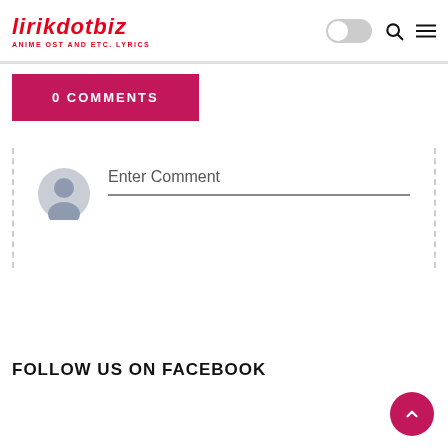lirikdotbiz — ANIME OST AND ETC. LYRICS
0 COMMENTS
Enter Comment
FOLLOW US ON FACEBOOK